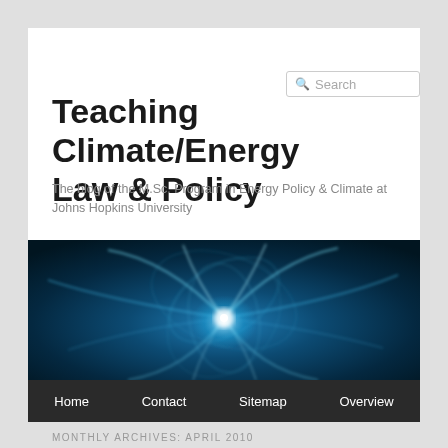Search
Teaching Climate/Energy Law & Policy
The blog of the M.Sc. Program in Energy Policy & Climate at Johns Hopkins University
[Figure (illustration): Dark blue background with glowing blue/white light burst or energy swirl pattern, resembling abstract energy or aurora]
Home  Contact  Sitemap  Overview
MONTHLY ARCHIVES: APRIL 2010